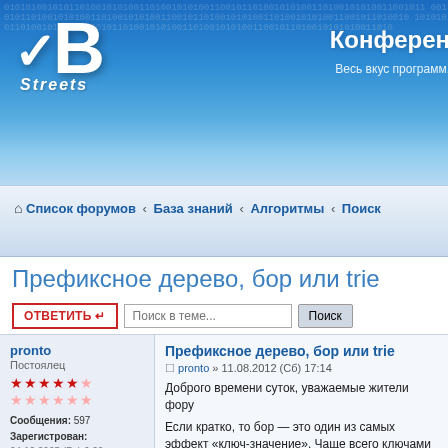[Figure (screenshot): VBStreets forum website header banner with logo and site title Конференция, subtitle Весь вкус программ...]
Список форумов ‹ База знаний ‹ Алгоритмы ‹ Поиск
Префиксное дерево, бор или trie
ОТВЕТИТЬ  Поиск в теме...  Поиск
Префиксное дерево, бор или trie
pronto » 11.08.2012 (Сб) 17:14
Доброго времени суток, уважаемые жители фору
Если кратко, то бор — это один из самых эффект «ключ-значение». Чаще всего ключами выступа ключей можно использовать совершенно любую как ассоциативного массива эту структуру мо